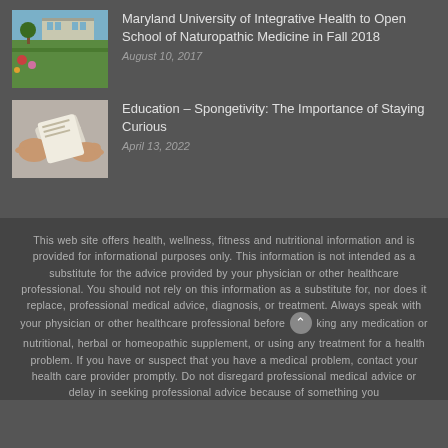[Figure (photo): Outdoor photo of a building with gardens and green landscape]
Maryland University of Integrative Health to Open School of Naturopathic Medicine in Fall 2018
August 10, 2017
[Figure (photo): Hands holding rolled paper or documents]
Education – Spongetivity: The Importance of Staying Curious
April 13, 2022
This web site offers health, wellness, fitness and nutritional information and is provided for informational purposes only. This information is not intended as a substitute for the advice provided by your physician or other healthcare professional. You should not rely on this information as a substitute for, nor does it replace, professional medical advice, diagnosis, or treatment. Always speak with your physician or other healthcare professional before taking any medication or nutritional, herbal or homeopathic supplement, or using any treatment for a health problem. If you have or suspect that you have a medical problem, contact your health care provider promptly. Do not disregard professional medical advice or delay in seeking professional advice because of something you